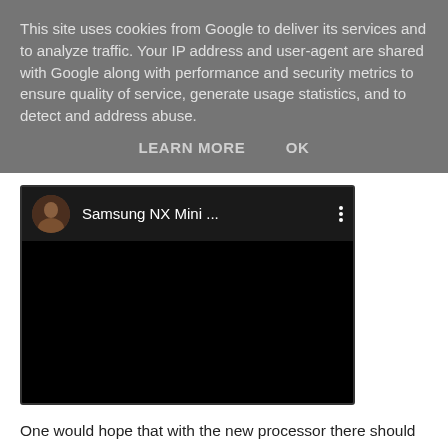This site uses cookies from Google to deliver its services and to analyze traffic. Your IP address and user-agent are shared with Google along with performance and security metrics to ensure quality of service, generate usage statistics, and to detect and address abuse.
LEARN MORE   OK
[Figure (screenshot): Embedded video player with black background showing a YouTube-style video embed. Top bar shows a circular avatar thumbnail of a person, the title 'Samsung NX Mini ...' in white text, and a vertical three-dot menu icon.]
One would hope that with the new processor there should be an increase in image / video quality, even if they are utilising